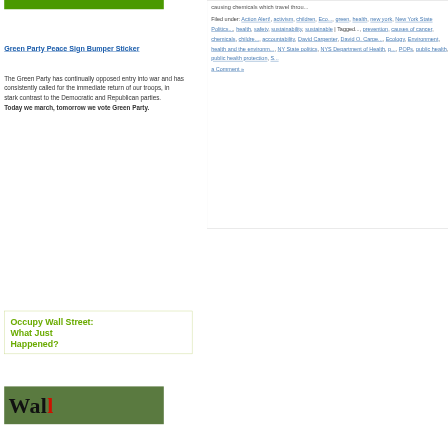[Figure (other): Green horizontal bar/banner at top left]
Green Party Peace Sign Bumper Sticker
The Green Party has continually opposed entry into war and has consistently called for the immediate return of our troops, in stark contrast to the Democratic and Republican parties. Today we march, tomorrow we vote Green Party.
causing chemicals which travel throu...
Filed under: Action Alert!, activism, children, Eco..., green, health, new york, New York State Politics..., health, safety, sustainability, sustainable | Tagged..., prevention, causes of cancer, chemicals, childre..., accountability, David Carpenter, David O. Carpe..., Ecology, Environment, health and the environm..., NY State politics, NYS Department of Health, p..., POPs, public health, public health protection, S..., a Comment »
Occupy Wall Street: What Just Happened?
[Figure (photo): Wall Street photo/image with text 'Wall' in large letters and a red graphic overlay]